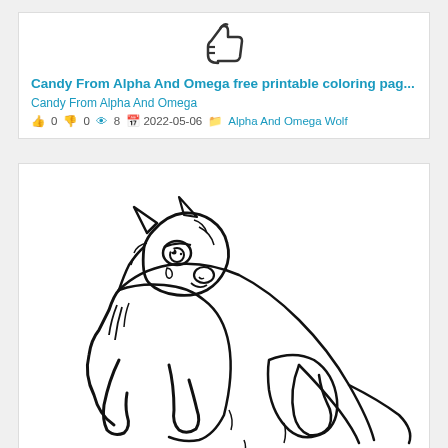[Figure (illustration): Thumbs up icon outline at top of card]
Candy From Alpha And Omega free printable coloring pag...
Candy From Alpha And Omega
👍 0 👎 0 👁 8 📅 2022-05-06 📁 Alpha And Omega Wolf
[Figure (illustration): Line art coloring page of a wolf character (Candy from Alpha and Omega), shown sitting, with large eyes, fluffy fur detail, pointed ears, looking forward. Black outlines on white background.]